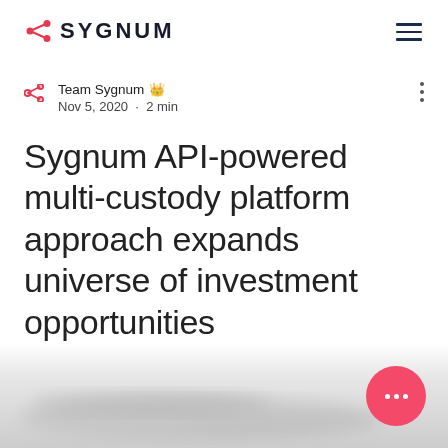SYGNUM
Team Sygnum 👑
Nov 5, 2020 · 2 min
Sygnum API-powered multi-custody platform approach expands universe of investment opportunities
[Figure (photo): Blurred background image at bottom of page, partially visible]